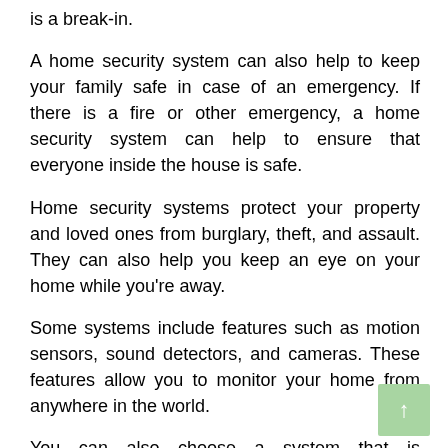is a break-in.
A home security system can also help to keep your family safe in case of an emergency. If there is a fire or other emergency, a home security system can help to ensure that everyone inside the house is safe.
Home security systems protect your property and loved ones from burglary, theft, and assault. They can also help you keep an eye on your home while you're away.
Some systems include features such as motion sensors, sound detectors, and cameras. These features allow you to monitor your home from anywhere in the world.
You can also choose a system that is customizable. This means that you can choose which alerts you receive and how you want them to be delivered.